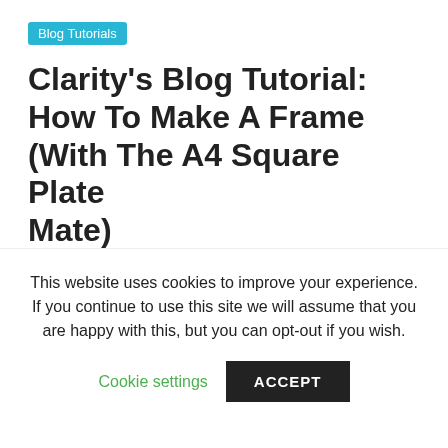Blog Tutorials
Clarity's Blog Tutorial: How To Make A Frame (With The A4 Square Plate Mate)
31st October 2021  Clarity  8 Comments  Bloggy Tutorials, Gridwork, Groovi, Intermediate, Jane Telford
Hello hello! Grace here.
This website uses cookies to improve your experience. If you continue to use this site we will assume that you are happy with this, but you can opt-out if you wish.
Cookie settings  ACCEPT